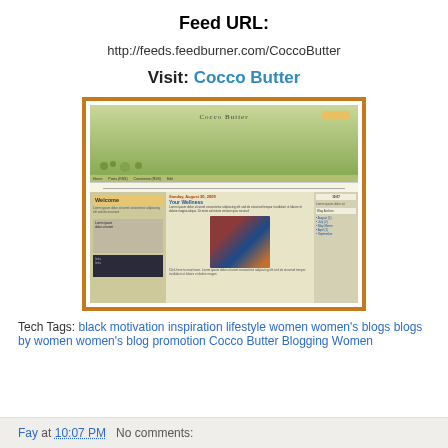Feed URL:
http://feeds.feedburner.com/CoccoButter
Visit: Cocco Butter
[Figure (screenshot): Screenshot of the Cocco Butter blog website showing a header with illustrated women walking, navigation bar, content area with welcome message, blog post, and sidebar.]
Tech Tags: black motivation inspiration lifestyle women women's blogs blogs by women women's blog promotion Cocco Butter Blogging Women
Fay at 10:07 PM   No comments: